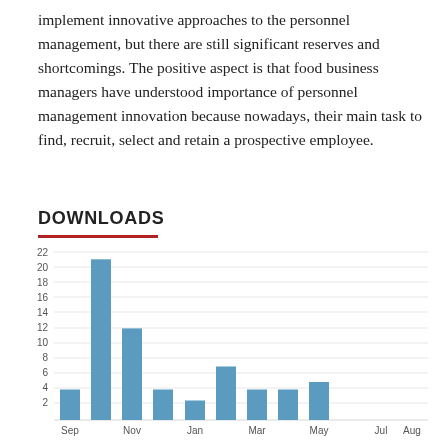implement innovative approaches to the personnel management, but there are still significant reserves and shortcomings. The positive aspect is that food business managers have understood importance of personnel management innovation because nowadays, their main task to find, recruit, select and retain a prospective employee.
DOWNLOADS
[Figure (bar-chart): Downloads]